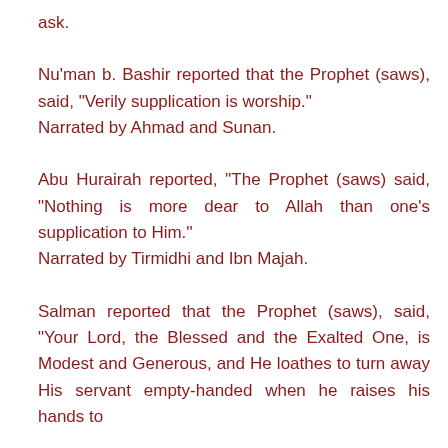ask.
Nu'man b. Bashir reported that the Prophet (saws), said, "Verily supplication is worship."
Narrated by Ahmad and Sunan.
Abu Hurairah reported, "The Prophet (saws) said, "Nothing is more dear to Allah than one's supplication to Him.''
Narrated by Tirmidhi and Ibn Majah.
Salman reported that the Prophet (saws), said, "Your Lord, the Blessed and the Exalted One, is Modest and Generous, and He loathes to turn away His servant empty-handed when he raises his hands to